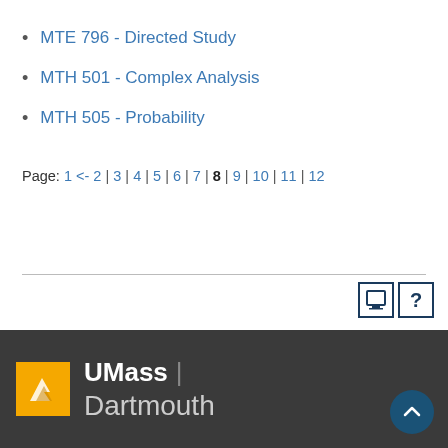MTE 796 - Directed Study
MTH 501 - Complex Analysis
MTH 505 - Probability
Page: 1 <- 2 | 3 | 4 | 5 | 6 | 7 | 8 | 9 | 10 | 11 | 12
UMass | Dartmouth